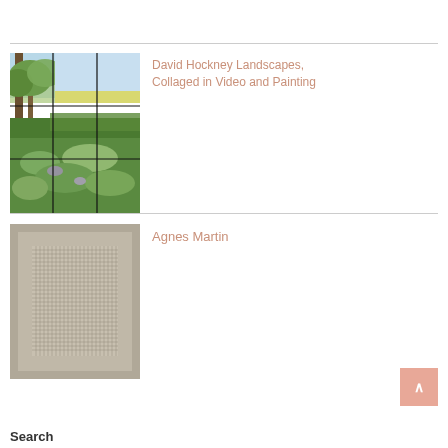[Figure (photo): David Hockney landscape photo composed as a grid collage showing trees, sky, and green fields]
David Hockney Landscapes, Collaged in Video and Painting
[Figure (photo): Agnes Martin minimalist grid artwork — square canvas with fine pencil grid lines on warm gray/beige background]
Agnes Martin
Search